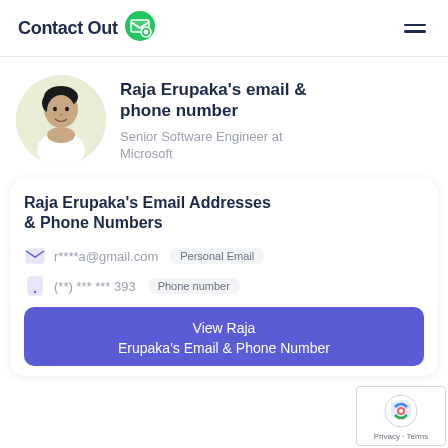ContactOut
Raja Erupaka's email & phone number
Senior Software Engineer at Microsoft
Raja Erupaka's Email Addresses & Phone Numbers
r****a@gmail.com  Personal Email
(**) *** *** 393  Phone number
View Raja Erupaka's Email & Phone Number